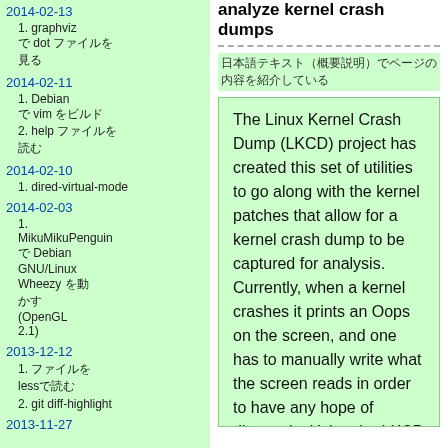2014-02-13
1. graphviz で dot ファイルを見る
2014-02-11
1. Debian で vim をビルド
2. help ファイルを読む
2014-02-10
1. dired-virtual-mode
2014-02-03
1. MikuMikuPenguin で Debian GNU/Linux Wheezy を動かす (OpenGL 2.1)
2013-12-12
1. ファイルを less で読む
2. git diff-highlight
2013-11-27
analyze kernel crash dumps
日本語テキスト（概要説明）
The Linux Kernel Crash Dump (LKCD) project has created this set of utilities to go along with the kernel patches that allow for a kernel crash dump to be captured for analysis. Currently, when a kernel crashes it prints an Oops on the screen, and one has to manually write what the screen reads in order to have any hope of diagnosis. Using the LKCD kernel patches and utilities a crash dump can be captured, either on disk in a dump device (such as the swap partition), or over the network using a network dump device and